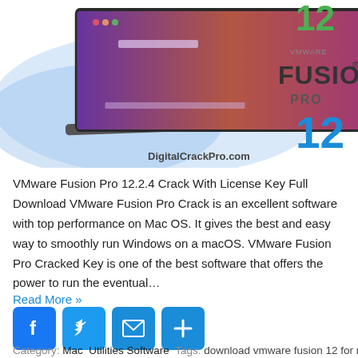[Figure (screenshot): VMware Fusion Pro 12 product image showing a laptop with the software running and the VMware Fusion Pro 12 logo on the right, with DigitalCrackPro.com watermark]
VMware Fusion Pro 12.2.4 Crack With License Key Full Download VMware Fusion Pro Crack is an excellent software with top performance on Mac OS. It gives the best and easy way to smoothly run Windows on a macOS. VMware Fusion Pro Cracked Key is one of the best software that offers the power to run the eventual…
Read More »
[Figure (infographic): Social sharing buttons: Facebook, Twitter, Email, and Share (plus icon)]
Category: Mac  Utilities Software  Tags: download vmware fusion 12 for mac ,  download vmware fusion full crack ,  Download VMware Workstation Pro ,  VMware Fusion 11.1